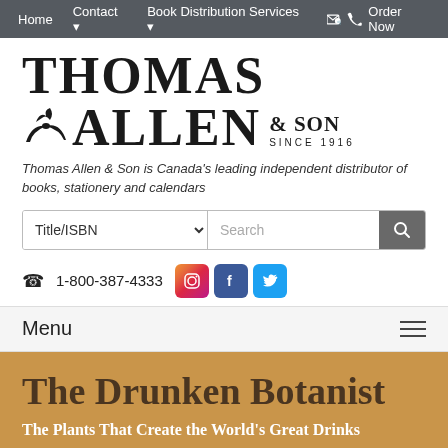Home   Contact   Book Distribution Services   Order Now
[Figure (logo): Thomas Allen & Son Since 1916 logo with bird illustration]
Thomas Allen & Son is Canada's leading independent distributor of books, stationery and calendars
Title/ISBN   Search
☎ 1-800-387-4333
Menu
The Drunken Botanist
The Plants That Create the World's Great Drinks